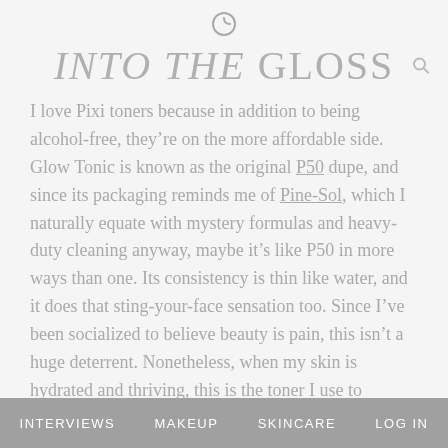G (logo icon)
INTO THE GLOSS
I love Pixi toners because in addition to being alcohol-free, they’re on the more affordable side. Glow Tonic is known as the original P50 dupe, and since its packaging reminds me of Pine-Sol, which I naturally equate with mystery formulas and heavy-duty cleaning anyway, maybe it’s like P50 in more ways than one. Its consistency is thin like water, and it does that sting-your-face sensation too. Since I’ve been socialized to believe beauty is pain, this isn’t a huge deterrent. Nonetheless, when my skin is hydrated and thriving, this is the toner I use to
INTERVIEWS   MAKEUP   SKINCARE   LOG IN